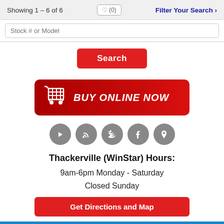Showing 1 – 6 of 6
♥ (0)
Filter Your Search ›
Stock # or Model
Search
[Figure (other): Red Buy Online Now banner with shopping cart icon]
[Figure (other): Row of five grey circular social media icons: YouTube, RSS, Twitter, Facebook, Location pin]
Thackerville (WinStar) Hours:
9am-6pm Monday - Saturday
Closed Sunday
Get Directions and Map